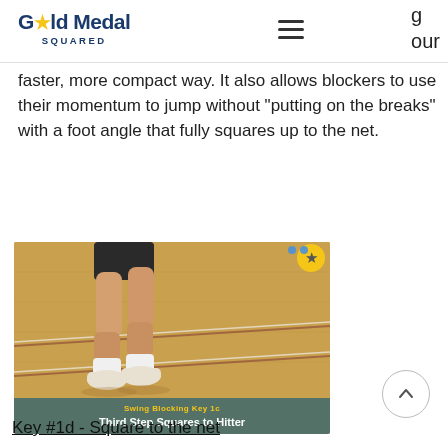Gold Medal Squared
faster, more compact way. It also allows blockers to use their momentum to jump without "putting on the breaks" with a foot angle that fully squares up to the net.
[Figure (photo): Video screenshot showing a volleyball player's legs and feet on a hardwood gymnasium court floor, with a teal caption bar at the bottom reading 'Swing Blocking Key 1c / Third Step Squares to Hitter' and a gold star badge in the upper right corner.]
Key #1d - Square to the net